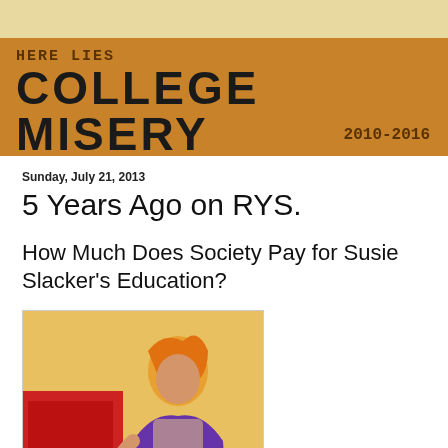HERE LIES
COLLEGE MISERY
2010-2016
Sunday, July 21, 2013
5 Years Ago on RYS.
How Much Does Society Pay for Susie Slacker's Education?
[Figure (illustration): Stylized illustration of a young woman at what appears to be a cash register or counter, rendered in bold graphic art style with red, orange, yellow, purple and white colors.]